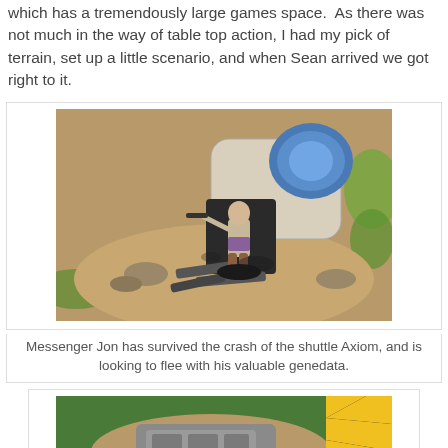which has a tremendously large games space. As there was not much in the way of table top action, I had my pick of terrain, set up a little scenario, and when Sean arrived we got right to it.
[Figure (photo): A painted miniature figure of Messenger Jon holding a weapon, standing in front of a crashed shuttle terrain piece called Axiom, on a tabletop gaming board.]
Messenger Jon has survived the crash of the shuttle Axiom, and is looking to flee with his valuable genedata.
[Figure (photo): A tabletop gaming terrain piece showing a crashed or landed craft/vehicle on a green gaming mat, with yellow and black hazard stripes visible on the right.]